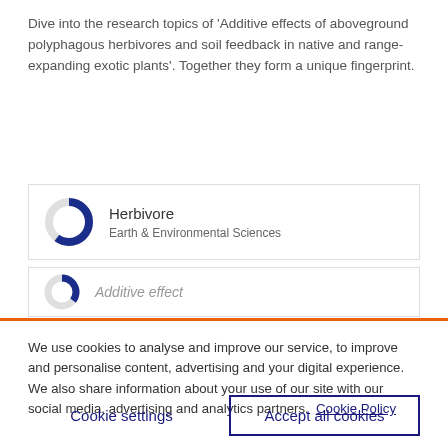Dive into the research topics of 'Additive effects of aboveground polyphagous herbivores and soil feedback in native and range-expanding exotic plants'. Together they form a unique fingerprint.
[Figure (infographic): Donut chart showing Herbivore topic with roughly 85% filled in dark blue. Label reads 'Herbivore' with subtitle 'Earth & Environmental Sciences']
[Figure (infographic): Partial donut chart for Additive effect topic, only partially visible.]
We use cookies to analyse and improve our service, to improve and personalise content, advertising and your digital experience. We also share information about your use of our site with our social media, advertising and analytics partners.  Cookie Policy
Cookie settings
Accept all cookies